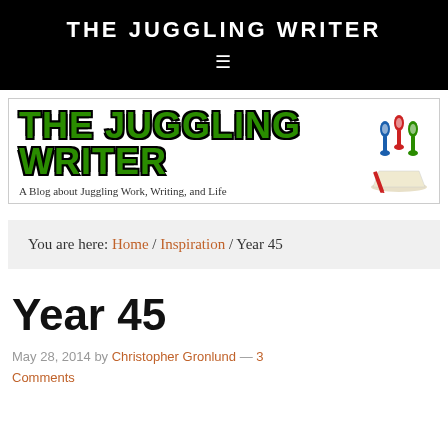THE JUGGLING WRITER
[Figure (logo): The Juggling Writer blog banner logo with green bold text and juggling pins illustration, subtitle: A Blog about Juggling Work, Writing, and Life]
You are here: Home / Inspiration / Year 45
Year 45
May 28, 2014 by Christopher Gronlund — 3 Comments